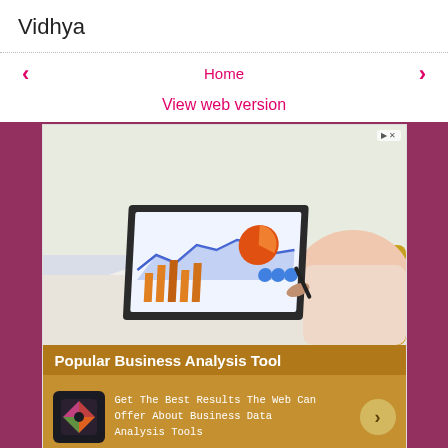Vidhya
< Home >
View web version
[Figure (photo): Advertisement banner for 'Popular Business Analysis Tool' showing a person using a laptop with charts, a logo, description text, and a navigation arrow button.]
Powered by Blogger.